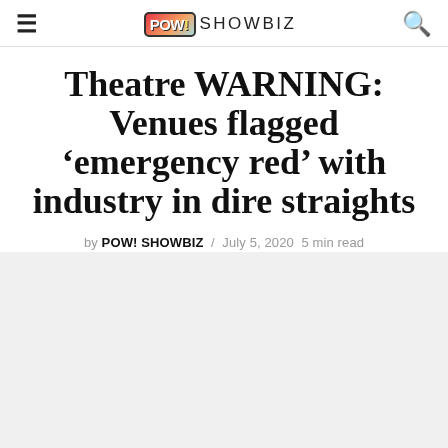POW! SHOWBIZ
Theatre WARNING: Venues flagged ‘emergency red’ with industry in dire straights
by POW! SHOWBIZ / July 5, 2020 5 min read
[Figure (photo): Light grey placeholder image area for article photograph]